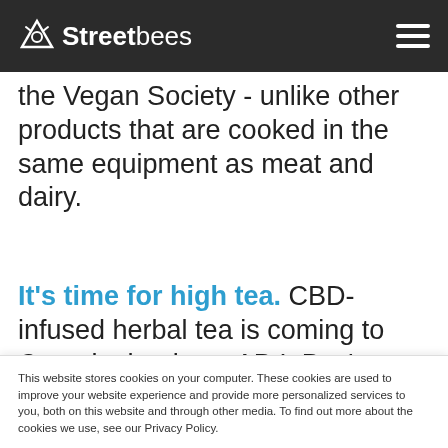Streetbees
the Vegan Society - unlike other products that are cooked in the same equipment as meat and dairy.
It's time for high tea. CBD-infused herbal tea is coming to Canada thanks to AB InBev's Labatt - while
This website stores cookies on your computer. These cookies are used to improve your website experience and provide more personalized services to you, both on this website and through other media. To find out more about the cookies we use, see our Privacy Policy.
We won't track your information when you visit our site. But in order to comply with your preferences, we'll have to use just one tiny cookie so that you're not asked to make this choice again.
Accept  Decline